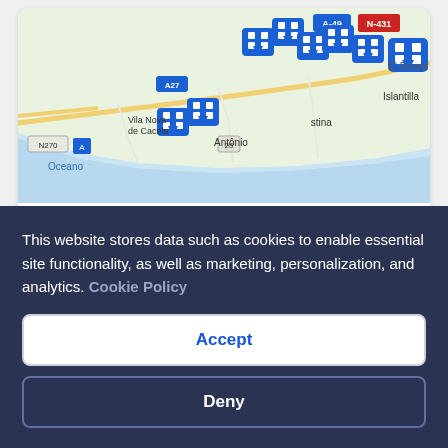[Figure (map): Interactive map showing coastal area of southern Portugal/Spain including locations: Vila Nova de Cacela, António, Islantilla, El Rompio, with hotel/accommodation markers and road labels A-49, N-431, N270, A27]
View map
Where to stay in Odeleite
Cookie banner: This website stores data such as cookies to enable essential site functionality, as well as marketing, personalization, and analytics. Cookie Policy
Accept
Deny